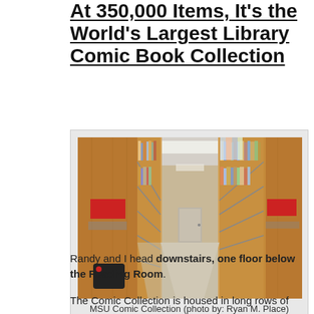At 350,000 Items, It's the World's Largest Library Comic Book Collection
[Figure (photo): Interior of a library archive showing long narrow aisles with tall wooden shelving units packed with comic books and binders on both sides, viewed in perspective, with red labeled sections visible on shelves.]
MSU Comic Collection (photo by: Ryan M. Place)
Randy and I head downstairs, one floor below the Reading Room.
The Comic Collection is housed in long rows of